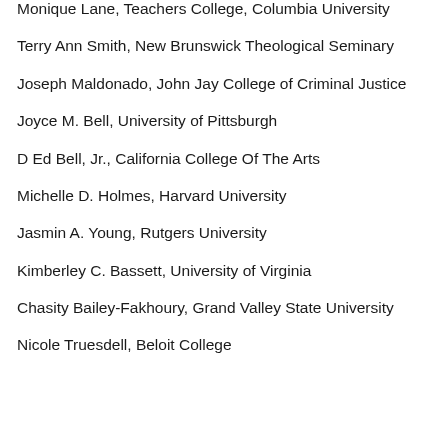Monique Lane, Teachers College, Columbia University
Terry Ann Smith, New Brunswick Theological Seminary
Joseph Maldonado, John Jay College of Criminal Justice
Joyce M. Bell, University of Pittsburgh
D Ed Bell, Jr., California College Of The Arts
Michelle D. Holmes, Harvard University
Jasmin A. Young, Rutgers University
Kimberley C. Bassett, University of Virginia
Chasity Bailey-Fakhoury, Grand Valley State University
Nicole Truesdell, Beloit College